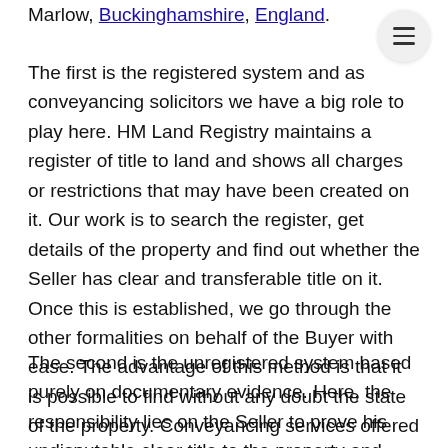Marlow, Buckinghamshire, England.
The first is the registered system and as conveyancing solicitors we have a big role to play here. HM Land Registry maintains a register of title to land and shows all charges or restrictions that may have been created on it. Our work is to search the register, get details of the property and find out whether the Seller has clear and transferable title on it. Once this is established, we go through the other formalities on behalf of the Buyer with ease. The advantage of this method is that it is possible to find without any doubt the state of the property. Conveyancing services offered by NBM Solicitors (Nigel Broadhead Mynard) meticulously takes care of this aspect.
The second is the unregistered system based purely on documentary evidence. Here, the responsibility lies on the Seller to prove his undisputable clear title to the property and